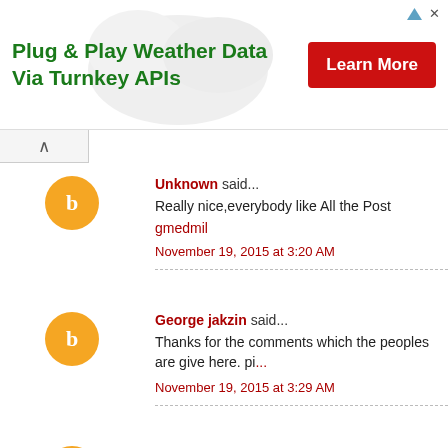[Figure (other): Advertisement banner: 'Plug & Play Weather Data Via Turnkey APIs' with a red 'Learn More' button and a weather-related background image]
Unknown said... Really nice,everybody like All the Post gmedmil November 19, 2015 at 3:20 AM
George jakzin said... Thanks for the comments which the peoples are give here. pi... November 19, 2015 at 3:29 AM
praveen said... Keep posting this articles and useful for every one spenglerfoxbelfast